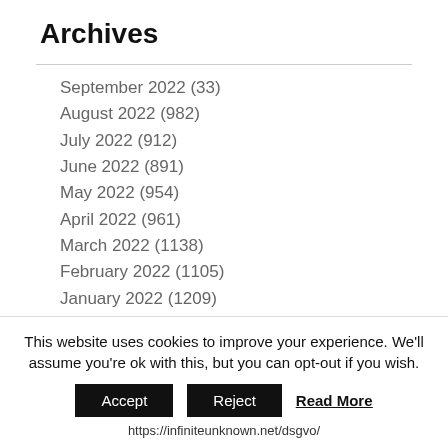Archives
September 2022 (33)
August 2022 (982)
July 2022 (912)
June 2022 (891)
May 2022 (954)
April 2022 (961)
March 2022 (1138)
February 2022 (1105)
January 2022 (1209)
December 2021 (1096)
November 2021 (1057)
October 2021 (1063)
This website uses cookies to improve your experience. We'll assume you're ok with this, but you can opt-out if you wish. Accept Reject Read More https://infiniteunknown.net/dsgvo/